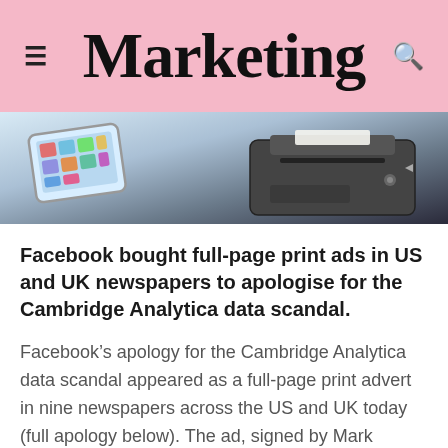Marketing
[Figure (photo): A tablet device and a printer shown together, depicting print and digital media.]
Facebook bought full-page print ads in US and UK newspapers to apologise for the Cambridge Analytica data scandal.
Facebook’s apology for the Cambridge Analytica data scandal appeared as a full-page print advert in nine newspapers across the US and UK today (full apology below). The ad, signed by Mark Zuckerberg, says Facebook is taking steps to prevent similar breaches from occurring again, and promises to “do